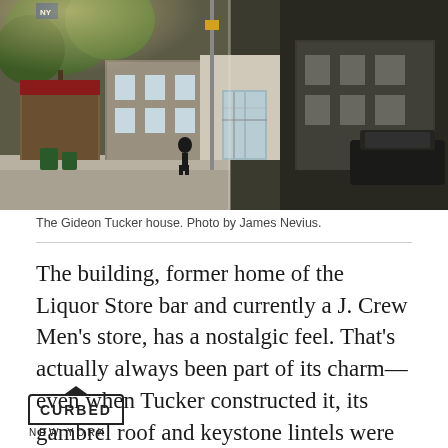[Figure (photo): Street-level photograph of the Gideon Tucker house, a historic building on a city street with trees and storefronts visible, taken on a sunny day.]
The Gideon Tucker house. Photo by James Nevius.
The building, former home of the Liquor Store bar and currently a J. Crew Men's store, has a nostalgic feel. That's actually always been part of its charm—even when Tucker constructed it, its gambrel roof and keystone lintels were already years out of date, hearkening back to the Colonial era. Perhaps Tucker had old-fashioned sensibilities or perhaps he knew what
CURBED NEW YORK